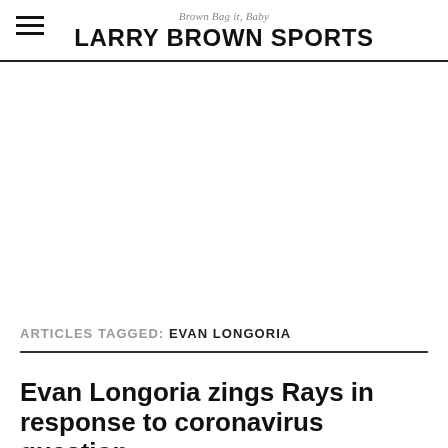Brown Bag it, Baby
LARRY BROWN SPORTS
ARTICLES TAGGED: EVAN LONGORIA
Evan Longoria zings Rays in response to coronavirus question